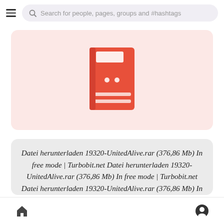Search for people, pages, groups and #hashtags
[Figure (illustration): Red/coral book icon on a pink background card]
Datei herunterladen 19320-UnitedAlive.rar (376,86 Mb) In free mode | Turbobit.net Datei herunterladen 19320-UnitedAlive.rar (376,86 Mb) In free mode | Turbobit.net Datei herunterladen 19320-UnitedAlive.rar (376,86 Mb) In free mode | Turbobit.net
Home | Profile